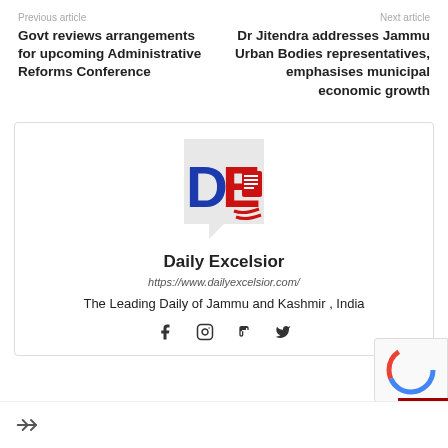Previous article
Next article
Govt reviews arrangements for upcoming Administrative Reforms Conference
Dr Jitendra addresses Jammu Urban Bodies representatives, emphasises municipal economic growth
[Figure (logo): Daily Excelsior newspaper logo — letters DE with red newspaper icon on a speech-bubble shaped background]
Daily Excelsior
https://www.dailyexcelsior.com/
The Leading Daily of Jammu and Kashmir , India
[Figure (other): Social media icons: Facebook, Instagram, Tumblr, Twitter]